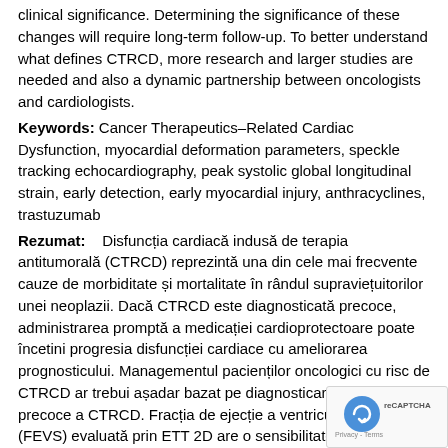clinical significance. Determining the significance of these changes will require long-term follow-up. To better understand what defines CTRCD, more research and larger studies are needed and also a dynamic partnership between oncologists and cardiologists.
Keywords: Cancer Therapeutics–Related Cardiac Dysfunction, myocardial deformation parameters, speckle tracking echocardiography, peak systolic global longitudinal strain, early detection, early myocardial injury, anthracyclines, trastuzumab
Rezumat: Disfuncția cardiacă indusă de terapia antitumorală (CTRCD) reprezintă una din cele mai frecvente cauze de morbiditate și mortalitate în rândul supraviețuitorilor unei neoplazii. Dacă CTRCD este diagnosticată precoce, administrarea promptă a medicației cardioprotectoare poate încetini progresia disfuncției cardiace cu ameliorarea prognosticului. Managementul pacienților oncologici cu risc de CTRCD ar trebui așadar bazat pe diagnosticarea și tratarea precoce a CTRCD. Fracția de ejecție a ventricului stâng (FEVS) evaluată prin ETT 2D are o sensibilitate redusă în depistarea precoce a CTRCD. Există un interes deosebi utilizarea parametrilor de deformare miocardică, măsurați prin
[Figure (other): reCAPTCHA logo with Privacy - Terms text overlay in bottom-right corner]